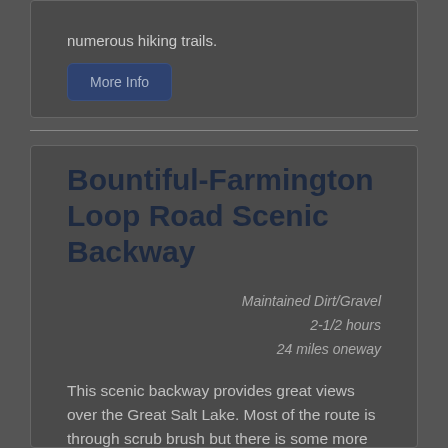numerous hiking trails.
More Info
Bountiful-Farmington Loop Road Scenic Backway
Maintained Dirt/Gravel
2-1/2 hours
24 miles oneway
This scenic backway provides great views over the Great Salt Lake. Most of the route is through scrub brush but there is some more substantial timber. The road is comprised of three, sometimes steep, gravel forest service